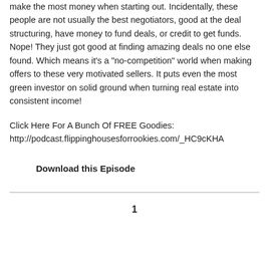make the most money when starting out. Incidentally, these people are not usually the best negotiators, good at the deal structuring, have money to fund deals, or credit to get funds. Nope! They just got good at finding amazing deals no one else found. Which means it's a "no-competition" world when making offers to these very motivated sellers. It puts even the most green investor on solid ground when turning real estate into consistent income!
Click Here For A Bunch Of FREE Goodies:
http://podcast.flippinghousesforrookies.com/_HC9cKHA
Download this Episode
1